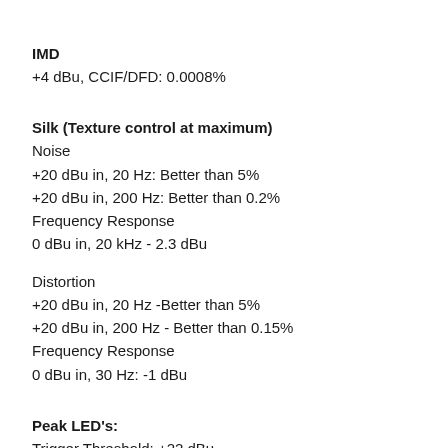IMD
+4 dBu, CCIF/DFD: 0.0008%
Silk (Texture control at maximum)
Noise
+20 dBu in, 20 Hz: Better than 5%
+20 dBu in, 200 Hz: Better than 0.2%
Frequency Response
0 dBu in, 20 kHz - 2.3 dBu
Distortion
+20 dBu in, 20 Hz -Better than 5%
+20 dBu in, 200 Hz - Better than 0.15%
Frequency Response
0 dBu in, 30 Hz: -1 dBu
Peak LED's:
Trigger Threshold: +22 dBu